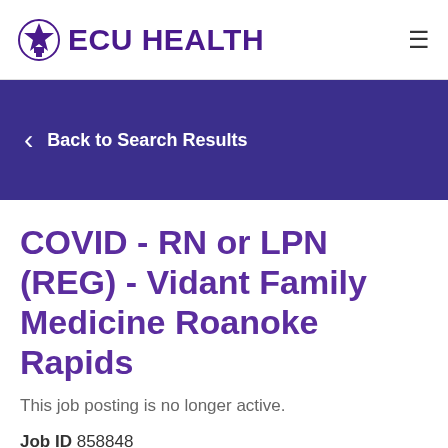ECU HEALTH
Back to Search Results
COVID - RN or LPN (REG) - Vidant Family Medicine Roanoke Rapids
This job posting is no longer active.
Job ID 858848